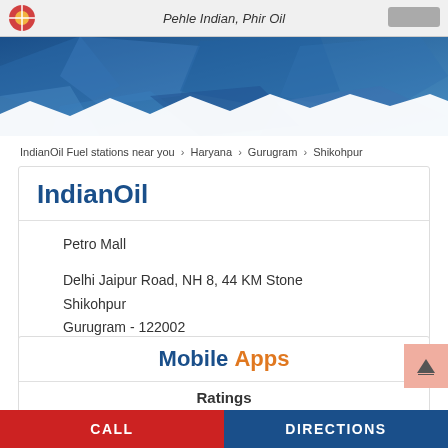Pehle Indian, Phir Oil
[Figure (illustration): Blue geometric polygon banner/header decoration]
IndianOil Fuel stations near you > Haryana > Gurugram > Shikohpur
IndianOil
Petro Mall
Delhi Jaipur Road, NH 8, 44 KM Stone
Shikohpur
Gurugram - 122002
Open 24 Hours
Mobile Apps
Ratings